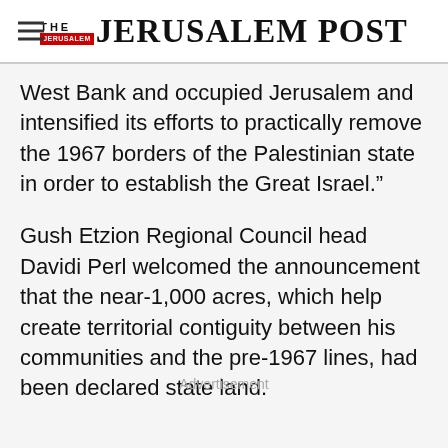THE JERUSALEM POST
West Bank and occupied Jerusalem and intensified its efforts to practically remove the 1967 borders of the Palestinian state in order to establish the Great Israel.”
Gush Etzion Regional Council head Davidi Perl welcomed the announcement that the near-1,000 acres, which help create territorial contiguity between his communities and the pre-1967 lines, had been declared state land.
Advertisement